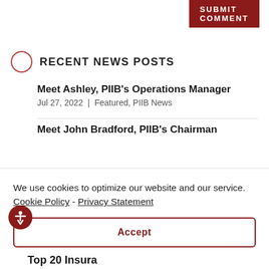SUBMIT COMMENT
RECENT NEWS POSTS
Meet Ashley, PIIB's Operations Manager
Jul 27, 2022 | Featured, PIIB News
Meet John Bradford, PIIB's Chairman
We use cookies to optimize our website and our service.  Cookie Policy - Privacy Statement
Accept
Top 20 Insura